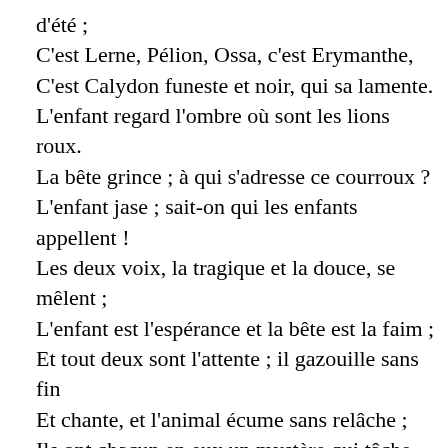d'été ;
C'est Lerne, Pélion, Ossa, c'est Erymanthe,
C'est Calydon funeste et noir, qui sa lamente.

L'enfant regard l'ombre où sont les lions roux.
La bête grince ; à qui s'adresse ce courroux ?
L'enfant jase ; sait-on qui les enfants appellent !
Les deux voix, la tragique et la douce, se mêlent ;
L'enfant est l'espérance et la bête est la faim ;
Et tout deux sont l'attente ; il gazouille sans fin
Et chante, et l'animal écume sans relâche ;
Ils ont chacun en eux un mystère qui tâche
De dire ce qu'il sait et d'avoir ce qu'il veut ;
Leur langue est prise et cherche à dénouer le